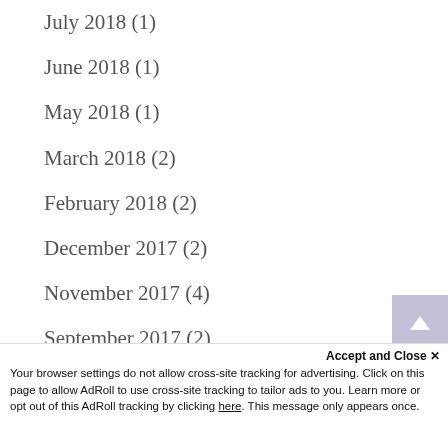July 2018 (1)
June 2018 (1)
May 2018 (1)
March 2018 (2)
February 2018 (2)
December 2017 (2)
November 2017 (4)
September 2017 (2)
August 2017 (3)
July 2017 (3)
June 2017 (4)
Accept and Close ✕ Your browser settings do not allow cross-site tracking for advertising. Click on this page to allow AdRoll to use cross-site tracking to tailor ads to you. Learn more or opt out of this AdRoll tracking by clicking here. This message only appears once.